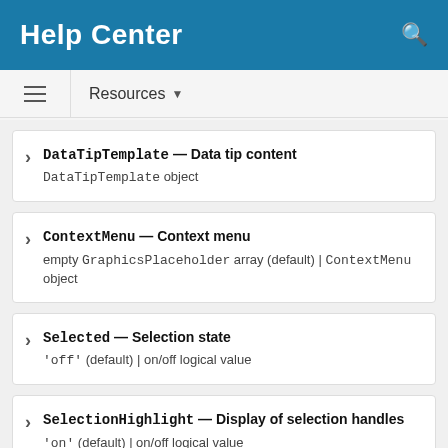Help Center
Resources ▼
DataTipTemplate — Data tip content
DataTipTemplate object
ContextMenu — Context menu
empty GraphicsPlaceholder array (default) | ContextMenu object
Selected — Selection state
'off' (default) | on/off logical value
SelectionHighlight — Display of selection handles
'on' (default) | on/off logical value